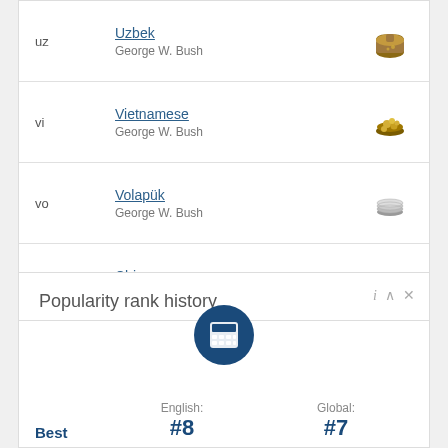| Code | Language | Icon |
| --- | --- | --- |
| uz | Uzbek / George W. Bush | chest icon |
| vi | Vietnamese / George W. Bush | gold coins icon |
| vo | Volapük / George W. Bush | silver coins icon |
| zh | Chinese / 中文-中文-中文 | chest icon |
| zhminnan | Min Nan / George W. Bush | chest icon |
Popularity rank history
[Figure (infographic): Calculator icon in dark blue circle]
English: Best #8  Global: Best #7